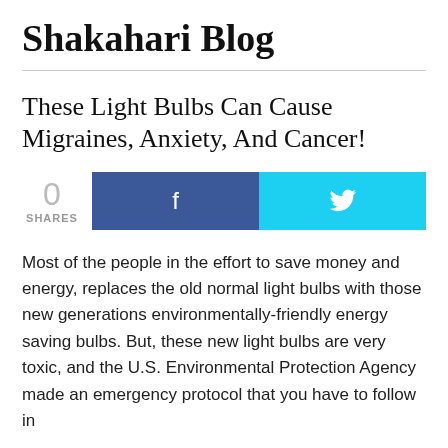Shakahari Blog
These Light Bulbs Can Cause Migraines, Anxiety, And Cancer!
[Figure (infographic): Social share count showing 0 SHARES, with Facebook (blue) and Twitter (cyan) share buttons]
Most of the people in the effort to save money and energy, replaces the old normal light bulbs with those new generations environmentally-friendly energy saving bulbs. But, these new light bulbs are very toxic, and the U.S. Environmental Protection Agency made an emergency protocol that you have to follow in